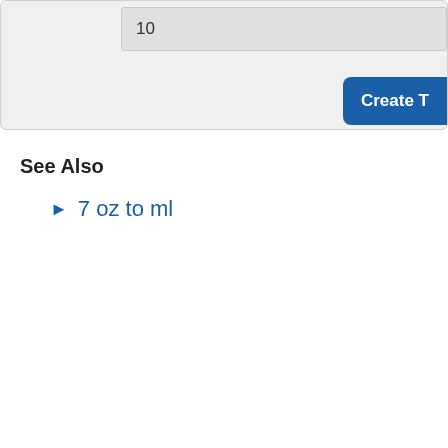10
Create T
See Also
7 oz to ml